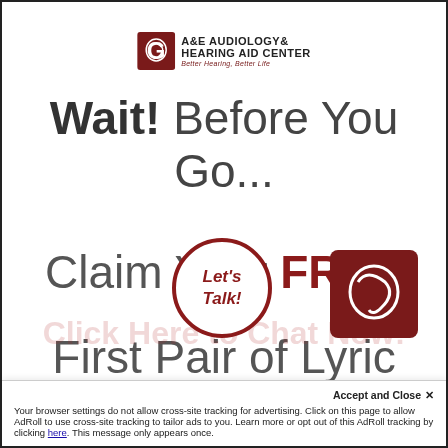[Figure (logo): A&E Audiology & Hearing Aid Center logo with icon and text and tagline]
Wait! Before You Go...
Claim Your FREE
First Pair of Lyric
[Figure (illustration): Let's Talk! circular badge and A&E logo square badge]
Accept and Close ×
Your browser settings do not allow cross-site tracking for advertising. Click on this page to allow AdRoll to use cross-site tracking to tailor ads to you. Learn more or opt out of this AdRoll tracking by clicking here. This message only appears once.